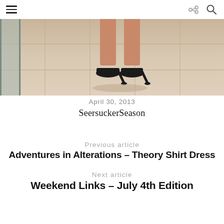≡  ↪  🔍
[Figure (photo): Close-up photo of a person's legs wearing black high heel pumps, standing on a tiled floor near a glass wall.]
April 30, 2013
Seersucker Season
Previous article
Adventures in Alterations – Theory Shirt Dress
Next article
Weekend Links – July 4th Edition